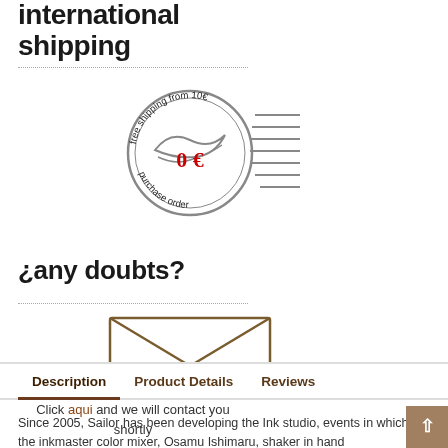international shipping
[Figure (illustration): Circular postage stamp illustration with 'free shipping from 10€' around the border and '0 €' in red in the center, with a stylized bird/wave graphic. Decorative cancellation lines to the right.]
¿any doubts?
[Figure (illustration): Simple line-drawn envelope icon (rectangle with V-shaped flap lines)]
Click aqui and we will contact you shortly
Description  Product Details  Reviews
Since 2005, Sailor has been developing the Ink studio, events in which the inkmaster color mixer, Osamu Ishimaru, shaker in hand